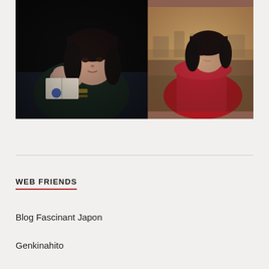[Figure (photo): Two side-by-side film/drama stills. Left: a young East Asian woman with dark bangs lying on a bed reading a book in dim light, wearing a dark green jacket with gold stripe. Right: a young East Asian woman with dark bob hair wearing a red coat outdoors with a blurred landscape background.]
WEB FRIENDS
Blog Fascinant Japon
Genkinahito